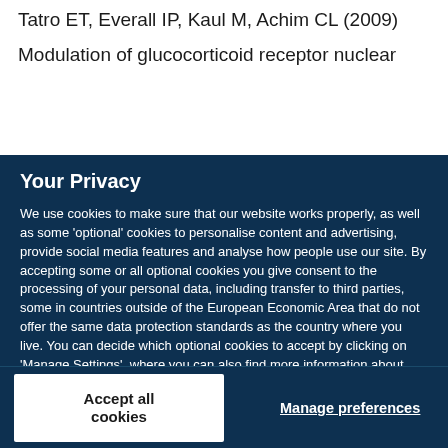Tatro ET, Everall IP, Kaul M, Achim CL (2009)
Modulation of glucocorticoid receptor nuclear
Your Privacy
We use cookies to make sure that our website works properly, as well as some 'optional' cookies to personalise content and advertising, provide social media features and analyse how people use our site. By accepting some or all optional cookies you give consent to the processing of your personal data, including transfer to third parties, some in countries outside of the European Economic Area that do not offer the same data protection standards as the country where you live. You can decide which optional cookies to accept by clicking on 'Manage Settings', where you can also find more information about how your personal data is processed. Further information can be found in our privacy policy.
Accept all cookies
Manage preferences